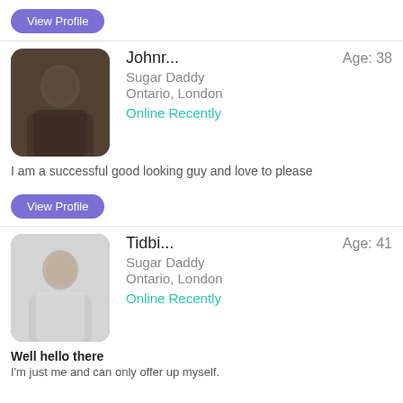View Profile
[Figure (photo): Blurred profile photo of Johnr, male, dark background]
Johnr...
Age: 38
Sugar Daddy
Ontario, London
Online Recently
I am a successful good looking guy and love to please
View Profile
[Figure (photo): Blurred profile photo of Tidbi, male, light background]
Tidbi...
Age: 41
Sugar Daddy
Ontario, London
Online Recently
Well hello there
I'm just me and can only offer up myself.